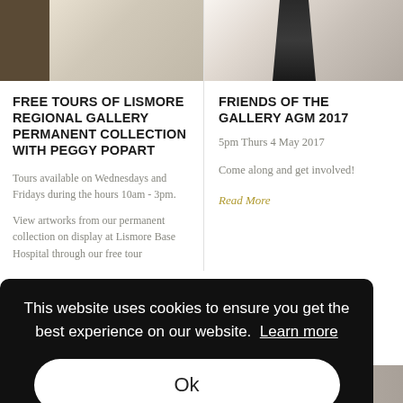[Figure (photo): Left column top photo showing a person and gallery wall with artworks]
[Figure (photo): Right column top photo showing a sculptural figure in dark clothing]
FREE TOURS OF LISMORE REGIONAL GALLERY PERMANENT COLLECTION WITH PEGGY POPART
Tours available on Wednesdays and Fridays during the hours 10am - 3pm.
View artworks from our permanent collection on display at Lismore Base Hospital through our free tour
FRIENDS OF THE GALLERY AGM 2017
5pm Thurs 4 May 2017
Come along and get involved!
Read More
[Figure (screenshot): Cookie consent overlay with dark background: 'This website uses cookies to ensure you get the best experience on our website. Learn more' and an Ok button]
[Figure (photo): Bottom strip showing partial thumbnails of gallery/event images]